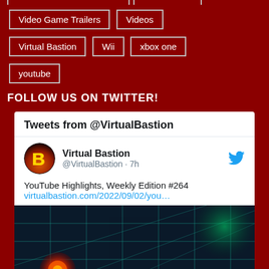Video Game Trailers
Videos
Virtual Bastion
Wii
xbox one
youtube
FOLLOW US ON TWITTER!
[Figure (screenshot): Embedded Twitter widget showing Tweets from @VirtualBastion. Shows Virtual Bastion account (@VirtualBastion · 7h) with tweet text 'YouTube Highlights, Weekly Edition #264' and link 'virtualbastion.com/2022/09/02/you…', followed by a game screenshot thumbnail showing a dark grid-based game scene with a red orb and green glow.]